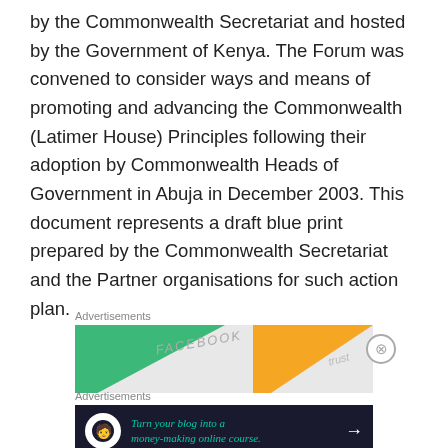by the Commonwealth Secretariat and hosted by the Government of Kenya. The Forum was convened to consider ways and means of promoting and advancing the Commonwealth (Latimer House) Principles following their adoption by Commonwealth Heads of Government in Abuja in December 2003. This document represents a draft blue print prepared by the Commonwealth Secretariat and the Partner organisations for such action plan.
Advertisements
[Figure (illustration): Advertisement banner with green and yellow triangle graphics, text 'FACEBOOK' visible]
Advertisements
[Figure (illustration): Dark advertisement banner with white circle icon containing a tree/person silhouette, teal text 'Turn your blog into a money-making online course.' and a white arrow]